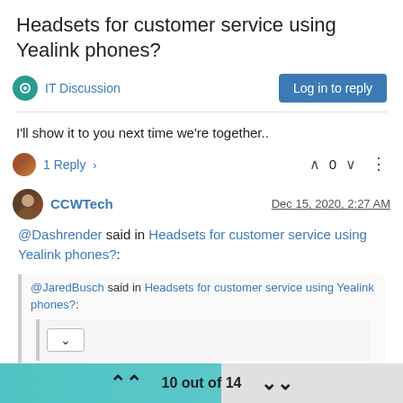Headsets for customer service using Yealink phones?
IT Discussion   Log in to reply
I'll show it to you next time we're together..
1 Reply >   0
CCWTech  Dec 15, 2020, 2:27 AM
@Dashrender said in Headsets for customer service using Yealink phones?:
@JaredBusch said in Headsets for customer service using Yealink phones?:
10 out of 14